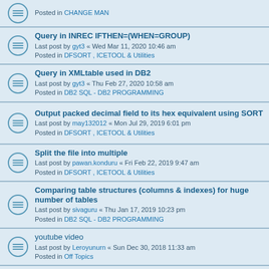Posted in CHANGE MAN
Query in INREC IFTHEN=(WHEN=GROUP)
Last post by gyt3 « Wed Mar 11, 2020 10:46 am
Posted in DFSORT , ICETOOL & Utilities
Query in XMLtable used in DB2
Last post by gyt3 « Thu Feb 27, 2020 10:58 am
Posted in DB2 SQL - DB2 PROGRAMMING
Output packed decimal field to its hex equivalent using SORT
Last post by may132012 « Mon Jul 29, 2019 6:01 pm
Posted in DFSORT , ICETOOL & Utilities
Split the file into multiple
Last post by pawan.konduru « Fri Feb 22, 2019 9:47 am
Posted in DFSORT , ICETOOL & Utilities
Comparing table structures (columns & indexes) for huge number of tables
Last post by sivaguru « Thu Jan 17, 2019 10:23 pm
Posted in DB2 SQL - DB2 PROGRAMMING
youtube video
Last post by Leroyunurn « Sun Dec 30, 2018 11:33 am
Posted in Off Topics
naa songs
Last post by Leroyunurn « Sun Dec 30, 2018 10:05 am
Posted in Off Topics
whatsapp video
Last post by Leroyunurn « Sun Dec 30, 2018 9:35 am